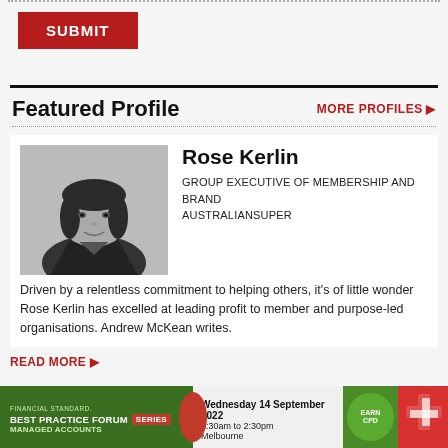[Figure (other): SUBMIT button, dark red background with white bold uppercase text]
Featured Profile
MORE PROFILES ▶
[Figure (photo): Black and white professional headshot of Rose Kerlin, a woman with dark hair, smiling, wearing a dark jacket]
Rose Kerlin
GROUP EXECUTIVE OF MEMBERSHIP AND BRAND
AUSTRALIANSUPER
Driven by a relentless commitment to helping others, it's of little wonder Rose Kerlin has excelled at leading profit to member and purpose-led organisations. Andrew McKean writes.
READ MORE ▶
[Figure (infographic): Bottom banner showing Financial Standard Best Practice Forum Series event details: Wednesday 14 September 2022, 8:30am to 2:30pm, Melbourne, with green and red branded sections and EARN CPD badge]